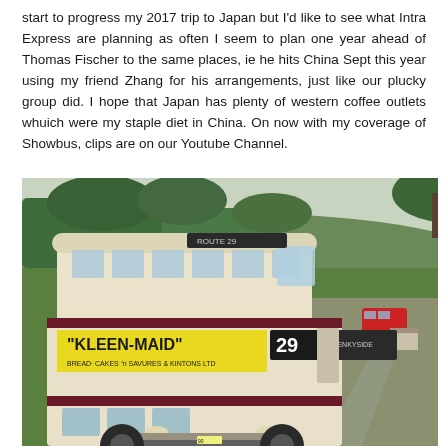start to progress my 2017 trip to Japan but I'd like to see what Intra Express are planning as often I seem to plan one year ahead of Thomas Fischer to the same places, ie he hits China Sept this year using my friend Zhang for his arrangements, just like our plucky group did. I hope that Japan has plenty of western coffee outlets whuich were my staple diet in China. On now with my coverage of Showbus, clips are on our Youtube Channel.
[Figure (photo): A vintage cream and maroon double-decker bus with route number 29 and 'KLEEN-MAID BREAD CAKES SAVURES & KINTONS LTD' advertisement on the side, photographed at a showground with green fields and trees in the background. Another red bus is visible in the distance.]